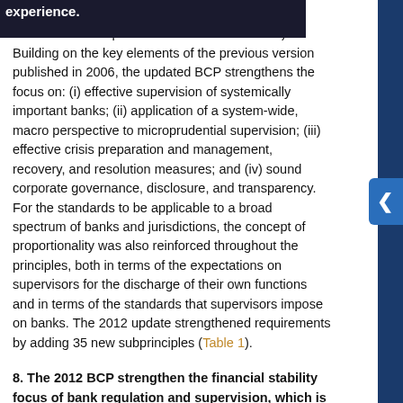reflects experience. ...ils on the relationship between the IMF and SSBs). Building on the key elements of the previous version published in 2006, the updated BCP strengthens the focus on: (i) effective supervision of systemically important banks; (ii) application of a system-wide, macro perspective to microprudential supervision; (iii) effective crisis preparation and management, recovery, and resolution measures; and (iv) sound corporate governance, disclosure, and transparency. For the standards to be applicable to a broad spectrum of banks and jurisdictions, the concept of proportionality was also reinforced throughout the principles, both in terms of the expectations on supervisors for the discharge of their own functions and in terms of the standards that supervisors impose on banks. The 2012 update strengthened requirements by adding 35 new subprinciples (Table 1).
8. The 2012 BCP strengthen the financial stability focus of bank regulation and supervision, which is significant for the Fund's mandate. The updated BCP includes a greater focus on risk-based supervision and